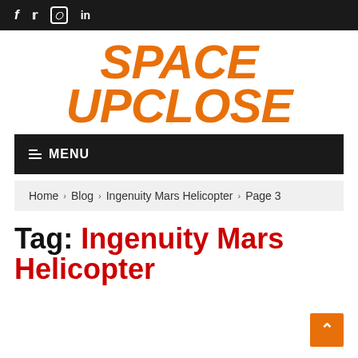f  twitter  instagram  in
[Figure (logo): Space UpClose logo in orange italic bold text]
≡ MENU
Home › Blog › Ingenuity Mars Helicopter › Page 3
Tag: Ingenuity Mars Helicopter